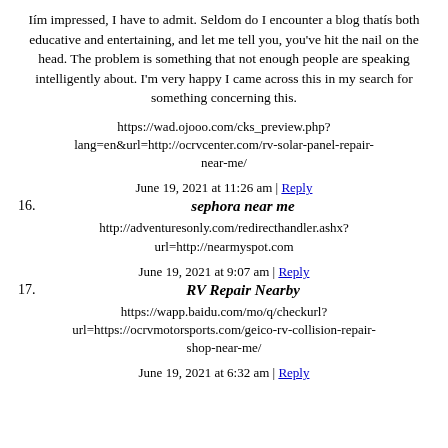Iím impressed, I have to admit. Seldom do I encounter a blog thatís both educative and entertaining, and let me tell you, you've hit the nail on the head. The problem is something that not enough people are speaking intelligently about. I'm very happy I came across this in my search for something concerning this.
https://wad.ojooo.com/cks_preview.php?lang=en&url=http://ocrvcenter.com/rv-solar-panel-repair-near-me/
June 19, 2021 at 11:26 am | Reply
16. sephora near me
http://adventuresonly.com/redirecthandler.ashx?url=http://nearmyspot.com
June 19, 2021 at 9:07 am | Reply
17. RV Repair Nearby
https://wapp.baidu.com/mo/q/checkurl?url=https://ocrvmotorsports.com/geico-rv-collision-repair-shop-near-me/
June 19, 2021 at 6:32 am | Reply